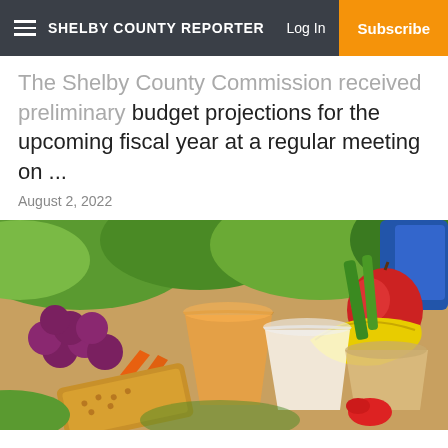Shelby County Reporter | Log In | Subscribe
The Shelby County Commission received preliminary budget projections for the upcoming fiscal year at a regular meeting on ...
August 2, 2022
[Figure (photo): Assorted healthy food items including fruits, vegetables, crackers, juice, and milk displayed on a surface]